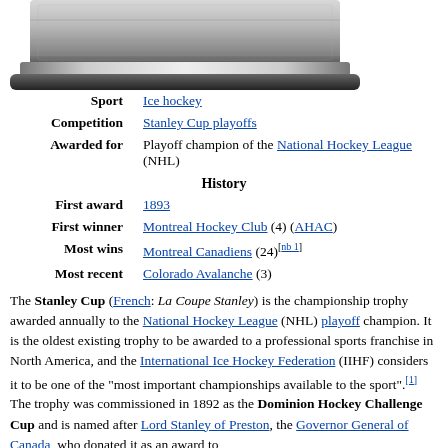[Figure (photo): Top portion of the Stanley Cup trophy, a large silver cylindrical cup, visible at the top of the page.]
| Sport | Ice hockey |
| Competition | Stanley Cup playoffs |
| Awarded for | Playoff champion of the National Hockey League (NHL) |
| History |  |
| First award | 1893 |
| First winner | Montreal Hockey Club (4) (AHAC) |
| Most wins | Montreal Canadiens (24)[nb 1] |
| Most recent | Colorado Avalanche (3) |
The Stanley Cup (French: La Coupe Stanley) is the championship trophy awarded annually to the National Hockey League (NHL) playoff champion. It is the oldest existing trophy to be awarded to a professional sports franchise in North America, and the International Ice Hockey Federation (IIHF) considers it to be one of the "most important championships available to the sport".[1] The trophy was commissioned in 1892 as the Dominion Hockey Challenge Cup and is named after Lord Stanley of Preston, the Governor General of Canada, who donated it as an award to